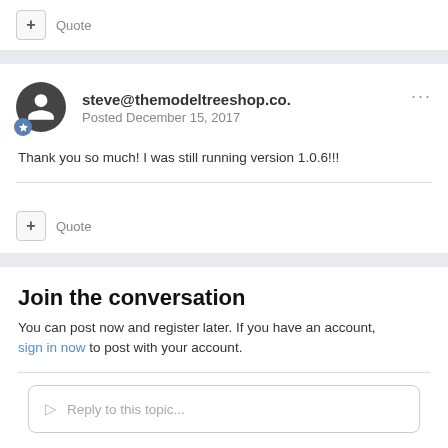+ Quote
steve@themodeltreeshop.co.
Posted December 15, 2017
Thank you so much! I was still running version 1.0.6!!!
+ Quote
Join the conversation
You can post now and register later. If you have an account, sign in now to post with your account.
Reply to this topic...